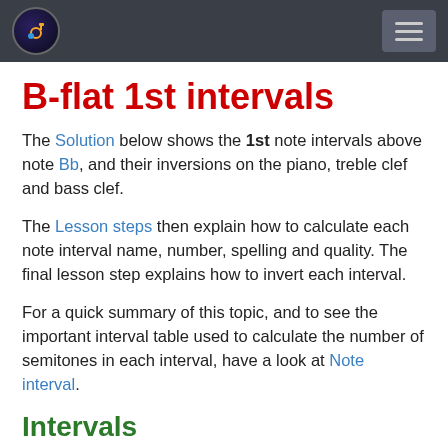B-flat 1st intervals — site navigation header
B-flat 1st intervals
The Solution below shows the 1st note intervals above note Bb, and their inversions on the piano, treble clef and bass clef.
The Lesson steps then explain how to calculate each note interval name, number, spelling and quality. The final lesson step explains how to invert each interval.
For a quick summary of this topic, and to see the important interval table used to calculate the number of semitones in each interval, have a look at Note interval.
Intervals